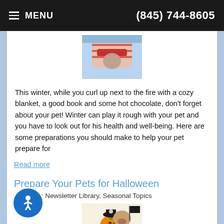≡ MENU   (845) 744-8605
[Figure (photo): A pet (cat or small dog) dressed in a red and white striped outfit, lying down, viewed from above]
This winter, while you curl up next to the fire with a cozy blanket, a good book and some hot chocolate, don't forget about your pet! Winter can play it rough with your pet and you have to look out for his health and well-being. Here are some preparations you should make to help your pet prepare for
Read more
Prepare Your Pets for Halloween
Category: Newsletter Library, Seasonal Topics
[Figure (photo): A dog dressed in a Halloween pirate costume next to a carved pumpkin jack-o-lantern]